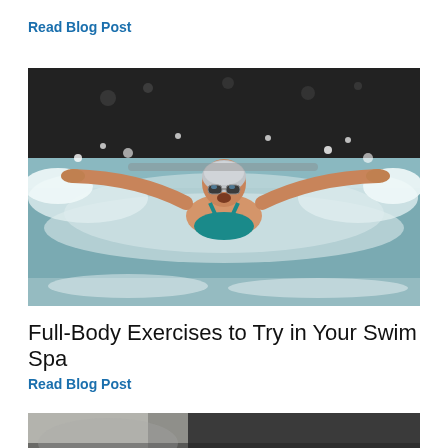Read Blog Post
[Figure (photo): Female swimmer performing butterfly stroke in a swim spa, wearing silver swim cap and goggles, water splashing dramatically around her outstretched arms.]
Full-Body Exercises to Try in Your Swim Spa
Read Blog Post
[Figure (photo): Partial view of a second image below, dark/blurred background scene.]